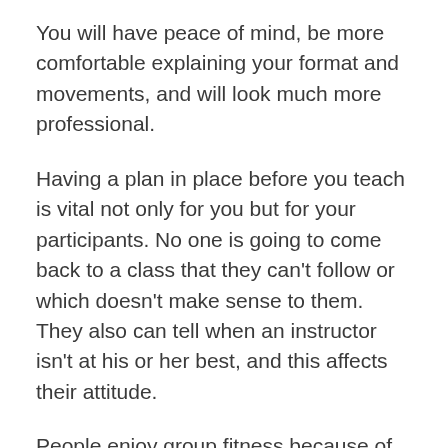You will have peace of mind, be more comfortable explaining your format and movements, and will look much more professional.
Having a plan in place before you teach is vital not only for you but for your participants. No one is going to come back to a class that they can't follow or which doesn't make sense to them. They also can tell when an instructor isn't at his or her best, and this affects their attitude.
People enjoy group fitness because of the energy, effort, and time given by their fellow classmates. These same traits are expected from the instructor to give the most enjoyable class experience. Exercise, by itself, does not keep people coming back to a class; you do.
– Arrive Early